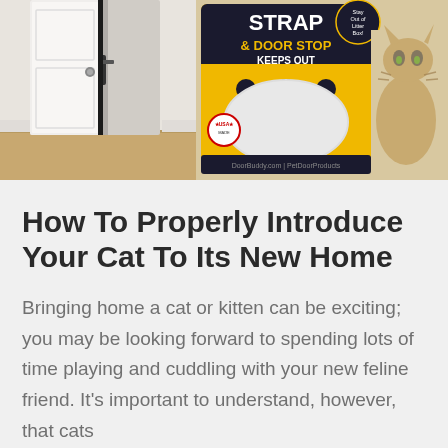[Figure (photo): Two product/lifestyle photos side by side: left shows a white door ajar with a door stop strap; right shows a yellow retail packaging for a 'Strap & Door Stop Keeps Out' product with a cat visible on the right side.]
How To Properly Introduce Your Cat To Its New Home
Bringing home a cat or kitten can be exciting; you may be looking forward to spending lots of time playing and cuddling with your new feline friend. It's important to understand, however, that cats